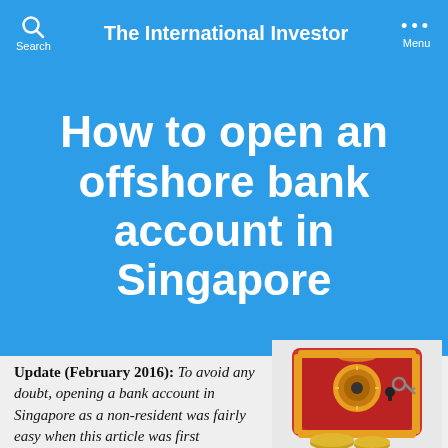The International Investor
How to open an offshore bank account in Singapore
Update (February 2016): To avoid any doubt, opening a bank account in Singapore as a non-resident was fairly easy when this article was first
[Figure (photo): A red vintage safe/lockbox with gold decorative details, a combination dial, and a key, sitting on top of coins — symbolizing secure offshore banking.]